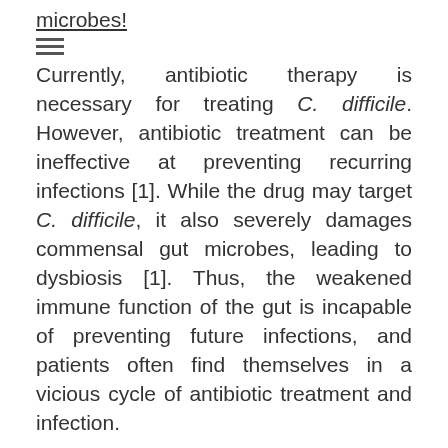microbes!
Currently, antibiotic therapy is necessary for treating C. difficile. However, antibiotic treatment can be ineffective at preventing recurring infections [1]. While the drug may target C. difficile, it also severely damages commensal gut microbes, leading to dysbiosis [1]. Thus, the weakened immune function of the gut is incapable of preventing future infections, and patients often find themselves in a vicious cycle of antibiotic treatment and infection.
Given that a strong, healthy gut is key to recovery from C. difficile, scientists are exploring new treatments that will restore healthy microbiota. The fecal microbial transplantation method has gained popularity and shown to be highly effective. In this case, the stool from a healthy donor is collected and transferred directly into the gut of a